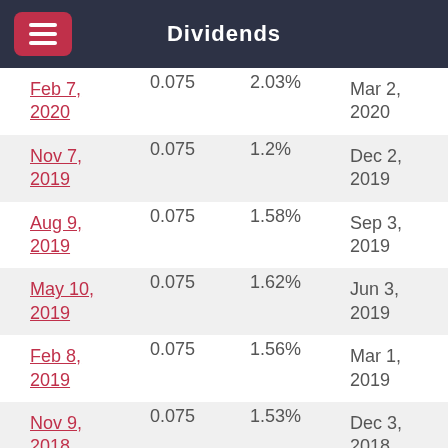Dividends
| Ex-Dividend Date | Dividend | Yield | Pay Date |
| --- | --- | --- | --- |
| Feb 7, 2020 | 0.075 | 2.03% | Mar 2, 2020 |
| Nov 7, 2019 | 0.075 | 1.2% | Dec 2, 2019 |
| Aug 9, 2019 | 0.075 | 1.58% | Sep 3, 2019 |
| May 10, 2019 | 0.075 | 1.62% | Jun 3, 2019 |
| Feb 8, 2019 | 0.075 | 1.56% | Mar 1, 2019 |
| Nov 9, 2018 | 0.075 | 1.53% | Dec 3, 2018 |